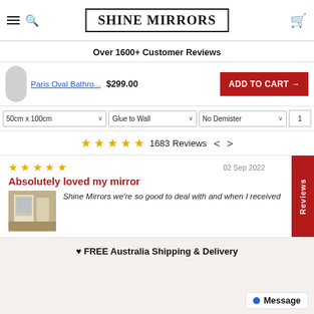SHINE MIRRORS
Over 1600+ Customer Reviews
Paris Oval Bathro... $299.00 ADD TO CART →
50cm x 100cm | Glue to Wall | No Demister | 1
★★★★★ 1683 Reviews < >
★★★★★  02 Sep 2022  Absolutely loved my mirror  Shine Mirrors we're so good to deal with and when I received
♥ FREE Australia Shipping & Delivery
Message